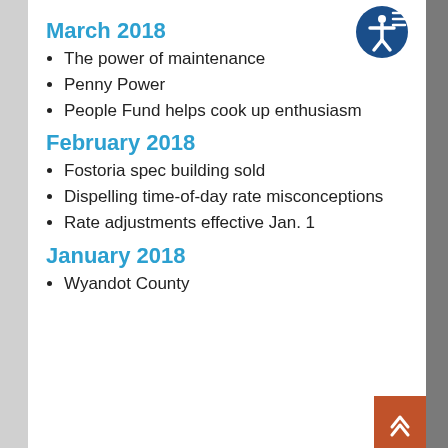March 2018
The power of maintenance
Penny Power
People Fund helps cook up enthusiasm
February 2018
Fostoria spec building sold
Dispelling time-of-day rate misconceptions
Rate adjustments effective Jan. 1
January 2018
Wyandot County